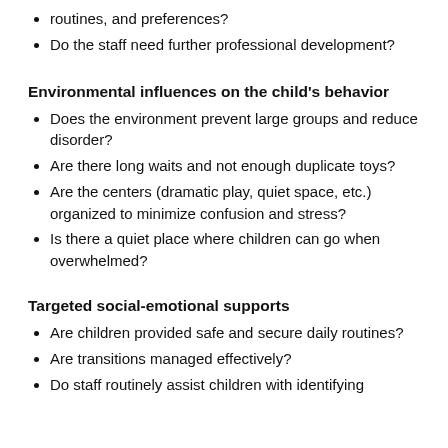routines, and preferences?
Do the staff need further professional development?
Environmental influences on the child's behavior
Does the environment prevent large groups and reduce disorder?
Are there long waits and not enough duplicate toys?
Are the centers (dramatic play, quiet space, etc.) organized to minimize confusion and stress?
Is there a quiet place where children can go when overwhelmed?
Targeted social-emotional supports
Are children provided safe and secure daily routines?
Are transitions managed effectively?
Do staff routinely assist children with identifying